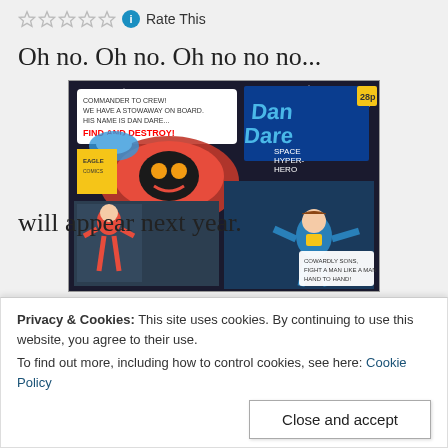Rate This
Oh no. Oh no. Oh no no no...
[Figure (illustration): Dan Dare Space Hyper-Hero comic book cover collage with colorful action scenes, spacecraft, and hero figures fighting hand-to-hand.]
I read the news on Thursday (oh boy...) and one
Privacy & Cookies: This site uses cookies. By continuing to use this website, you agree to their use.
To find out more, including how to control cookies, see here: Cookie Policy
Close and accept
will appear next year.